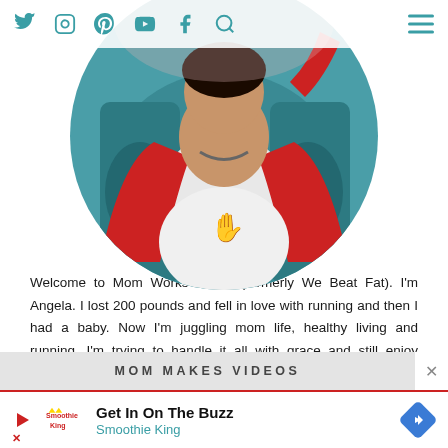Social media navigation icons: Twitter, Instagram, Pinterest, YouTube, Facebook, Search, Hamburger menu
[Figure (photo): Circular cropped photo of a person wearing a white t-shirt with a red graphic and a red long-sleeve underneath, seated in a car interior with teal seats, raising one arm up]
Welcome to Mom Works It Out (formerly We Beat Fat). I'm Angela. I lost 200 pounds and fell in love with running and then I had a baby. Now I'm juggling mom life, healthy living and running. I'm trying to handle it all with grace and still enjoy traveling, writing, reading, and everything colorful.
MOM MAKES VIDEOS
[Figure (screenshot): Advertisement banner: Get In On The Buzz - Smoothie King, with play button, Smoothie King logo, and blue diamond navigation arrow icon]